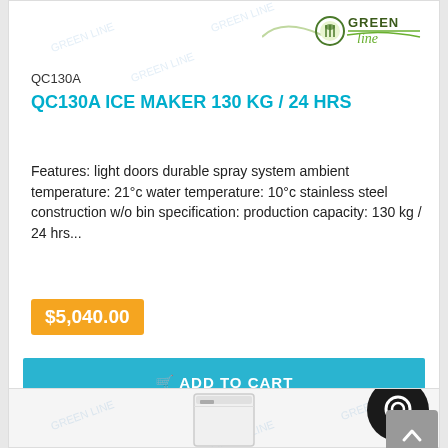[Figure (logo): Green line brand logo with leaf/fork icon and cursive text]
QC130A
QC130A ICE MAKER 130 KG / 24 HRS
Features: light doors durable spray system ambient temperature: 21°c water temperature: 10°c stainless steel construction w/o bin specification: production capacity: 130 kg / 24 hrs...
$5,040.00
ADD TO CART
ADD TO QUOTE
[Figure (photo): Partial view of a white commercial refrigeration unit at the bottom of the page]